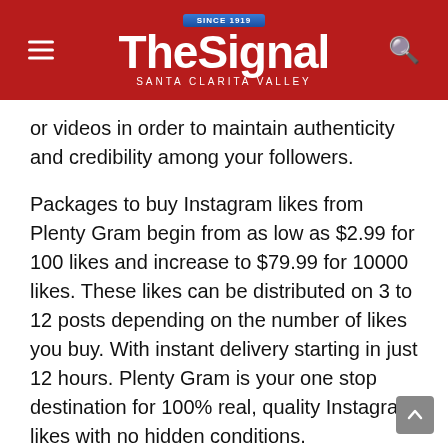The Signal — Santa Clarita Valley (SINCE 1919)
or videos in order to maintain authenticity and credibility among your followers.
Packages to buy Instagram likes from Plenty Gram begin from as low as $2.99 for 100 likes and increase to $79.99 for 10000 likes. These likes can be distributed on 3 to 12 posts depending on the number of likes you buy. With instant delivery starting in just 12 hours. Plenty Gram is your one stop destination for 100% real, quality Instagram likes with no hidden conditions.
Quick Growth